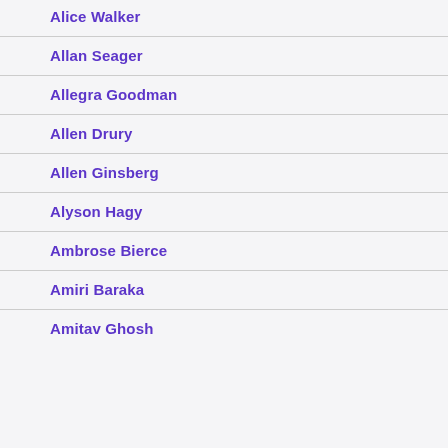Alice Walker
Allan Seager
Allegra Goodman
Allen Drury
Allen Ginsberg
Alyson Hagy
Ambrose Bierce
Amiri Baraka
Amitav Ghosh